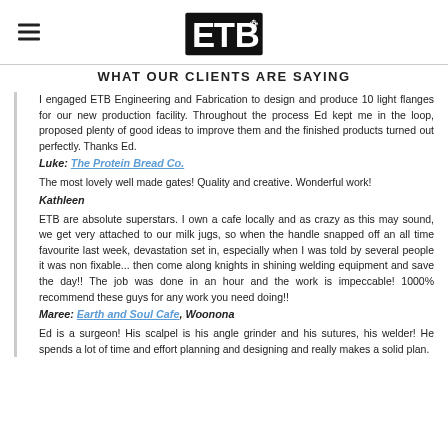ETB Engineering and Fabrication logo with hamburger menu
WHAT OUR CLIENTS ARE SAYING
I engaged ETB Engineering and Fabrication to design and produce 10 light flanges for our new production facility. Throughout the process Ed kept me in the loop, proposed plenty of good ideas to improve them and the finished products turned out perfectly. Thanks Ed.
Luke: The Protein Bread Co.
The most lovely well made gates! Quality and creative. Wonderful work!
Kathleen
ETB are absolute superstars. I own a cafe locally and as crazy as this may sound, we get very attached to our milk jugs, so when the handle snapped off an all time favourite last week, devastation set in, especially when I was told by several people it was non fixable... then come along knights in shining welding equipment and save the day!! The job was done in an hour and the work is impeccable! 1000% recommend these guys for any work you need doing!!
Maree: Earth and Soul Cafe, Woonona
Ed is a surgeon! His scalpel is his angle grinder and his sutures, his welder! He spends a lot of time and effort planning and designing and really makes a solid plan.